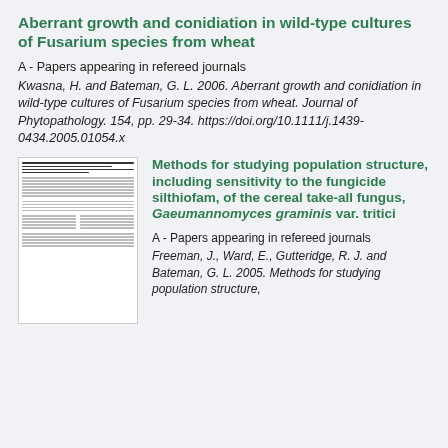Aberrant growth and conidiation in wild-type cultures of Fusarium species from wheat
A - Papers appearing in refereed journals
Kwasna, H. and Bateman, G. L. 2006. Aberrant growth and conidiation in wild-type cultures of Fusarium species from wheat. Journal of Phytopathology. 154, pp. 29-34. https://doi.org/10.1111/j.1439-0434.2005.01054.x
[Figure (screenshot): Thumbnail image of a journal article page]
Methods for studying population structure, including sensitivity to the fungicide silthiofam, of the cereal take-all fungus, Gaeumannomyces graminis var. tritici
A - Papers appearing in refereed journals
Freeman, J., Ward, E., Gutteridge, R. J. and Bateman, G. L. 2005. Methods for studying population structure,